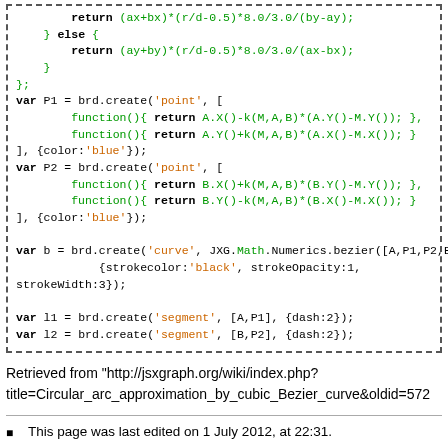[Figure (screenshot): Code block showing JavaScript using JSXGraph library for Bezier curve construction with control points P1 and P2]
Retrieved from "http://jsxgraph.org/wiki/index.php?title=Circular_arc_approximation_by_cubic_Bezier_curve&oldid=572"
This page was last edited on 1 July 2012, at 22:31.
Content is available under GNU Free Documentation License 1.2 unless otherwise noted.